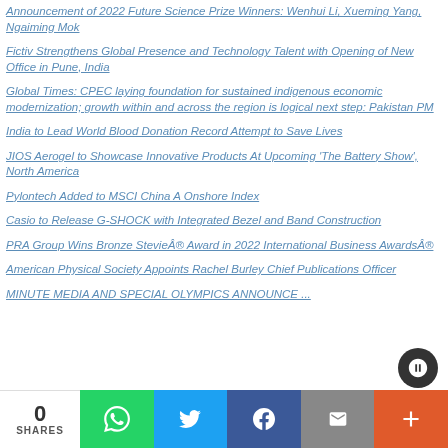Announcement of 2022 Future Science Prize Winners: Wenhui Li, Xueming Yang, Ngaiming Mok
Fictiv Strengthens Global Presence and Technology Talent with Opening of New Office in Pune, India
Global Times: CPEC laying foundation for sustained indigenous economic modernization; growth within and across the region is logical next step: Pakistan PM
India to Lead World Blood Donation Record Attempt to Save Lives
JIOS Aerogel to Showcase Innovative Products At Upcoming 'The Battery Show', North America
Pylontech Added to MSCI China A Onshore Index
Casio to Release G-SHOCK with Integrated Bezel and Band Construction
PRA Group Wins Bronze Stevie® Award in 2022 International Business Awards®
American Physical Society Appoints Rachel Burley Chief Publications Officer
MINUTE MEDIA AND SPECIAL OLYMPICS ANNOUNCE ...